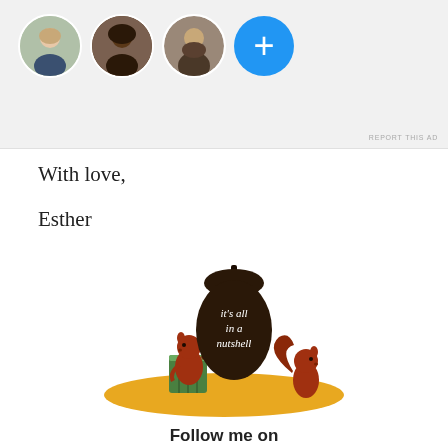[Figure (screenshot): Advertisement banner showing three circular profile photo avatars (woman with light skin, woman with dark skin/hair, man with beard) and a blue circle with a plus sign, on a light grey background. Small 'REPORT THIS AD' text in the bottom right corner.]
With love,
Esther
[Figure (logo): Blog logo: two brown squirrels flanking a large dark brown acorn on a yellow oval ground patch with a tree stump. Script text on the acorn reads 'it's all in a nutshell'.]
Follow me on
Facebook, Pinterest, You-Tube, Google+, Ravelry, Bloglovin', Instagram
This post contains affiliate links. Please read